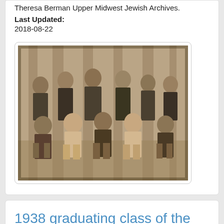Theresa Berman Upper Midwest Jewish Archives.
Last Updated:
2018-08-22
[Figure (photo): Group photograph of people seated and standing, sepia-toned vintage photo.]
1938 graduating class of the St. Paul Talmud Torah
Description:
Group photograph of the 1938 graduating class of the St. Paul Talmud Torah.
Created:
1938